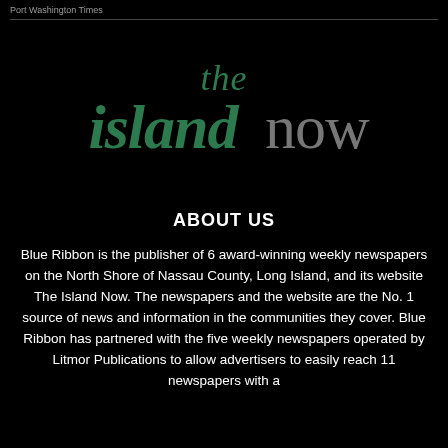Port Washington Times
[Figure (logo): The Island Now logo — 'the island' in dark green serif/italic font, 'now' in gray sans-serif]
ABOUT US
Blue Ribbon is the publisher of 6 award-winning weekly newspapers on the North Shore of Nassau County, Long Island, and its website The Island Now. The newspapers and the website are the No. 1 source of news and information in the communities they cover. Blue Ribbon has partnered with the five weekly newspapers operated by Litmor Publications to allow advertisers to easily reach 11 newspapers with a